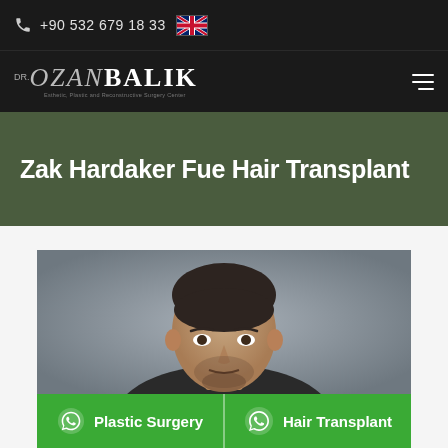+90 532 679 18 33
[Figure (logo): Dr. Ozan Balik logo with subtitle text]
Zak Hardaker Fue Hair Transplant
[Figure (photo): Photo of a man (Zak Hardaker) with short hair and beard against a grey background]
Plastic Surgery
Hair Transplant